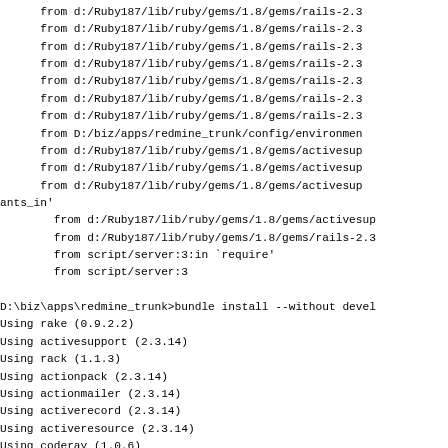from d:/Ruby187/lib/ruby/gems/1.8/gems/rails-2.3...
    from d:/Ruby187/lib/ruby/gems/1.8/gems/rails-2.3
    from d:/Ruby187/lib/ruby/gems/1.8/gems/rails-2.3
    from d:/Ruby187/lib/ruby/gems/1.8/gems/rails-2.3
    from d:/Ruby187/lib/ruby/gems/1.8/gems/rails-2.3
    from d:/Ruby187/lib/ruby/gems/1.8/gems/rails-2.3
    from d:/Ruby187/lib/ruby/gems/1.8/gems/rails-2.3
    from D:/biz/apps/redmine_trunk/config/environmen
    from d:/Ruby187/lib/ruby/gems/1.8/gems/activesup
    from d:/Ruby187/lib/ruby/gems/1.8/gems/activesup
    from d:/Ruby187/lib/ruby/gems/1.8/gems/activesup
ants_in'
        from d:/Ruby187/lib/ruby/gems/1.8/gems/activesup
        from d:/Ruby187/lib/ruby/gems/1.8/gems/rails-2.3
        from script/server:3:in `require'
        from script/server:3

D:\biz\apps\redmine_trunk>bundle install --without devel
Using rake (0.9.2.2)
Using activesupport (2.3.14)
Using rack (1.1.3)
Using actionpack (2.3.14)
Using actionmailer (2.3.14)
Using activerecord (2.3.14)
Using activeresource (2.3.14)
Using coderay (1.0.6)
Using fastercsv (1.5.4)
Using i18n (0.4.2)
Using mysql (2.8.1)
Using net-ldap (0.3.1)
Using pg (0.11.0)
Using rails (2.3.14)
Using ruby-openid (2.1.8)